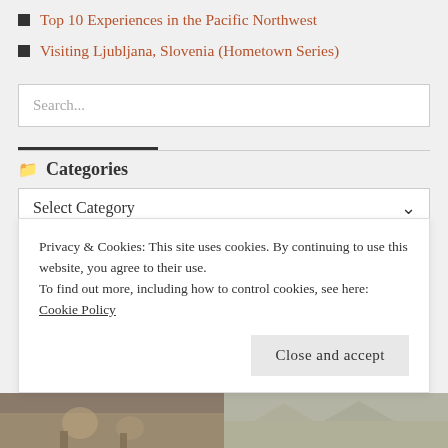Top 10 Experiences in the Pacific Northwest
Visiting Ljubljana, Slovenia (Hometown Series)
Search...
Categories
Select Category
Privacy & Cookies: This site uses cookies. By continuing to use this website, you agree to their use.
To find out more, including how to control cookies, see here: Cookie Policy
Close and accept
[Figure (photo): Two photos at bottom of page: left shows people outdoors, right shows outdoor scenery]